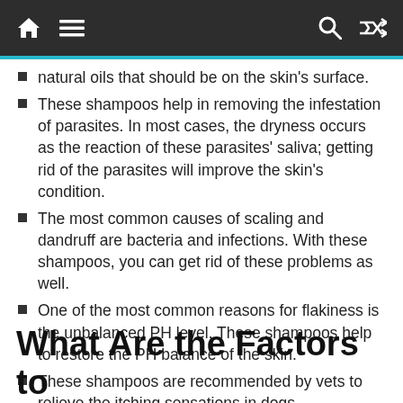[Navigation bar with home, menu, search, and shuffle icons]
natural oils that should be on the skin's surface.
These shampoos help in removing the infestation of parasites. In most cases, the dryness occurs as the reaction of these parasites' saliva; getting rid of the parasites will improve the skin's condition.
The most common causes of scaling and dandruff are bacteria and infections. With these shampoos, you can get rid of these problems as well.
One of the most common reasons for flakiness is the unbalanced PH level. These shampoos help to restore the PH balance of the skin.
These shampoos are recommended by vets to relieve the itching sensations in dogs.
What Are the Factors to